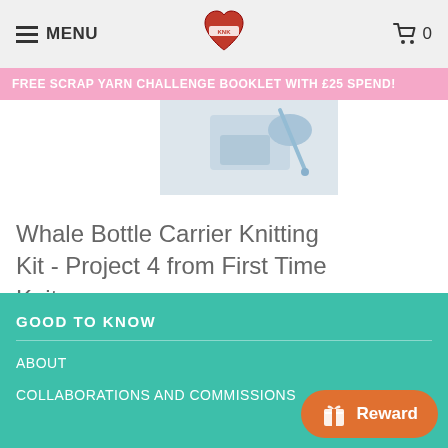MENU | [logo] | Cart 0
FREE SCRAP YARN CHALLENGE BOOKLET WITH £25 SPEND!
[Figure (photo): Product photo of Whale Bottle Carrier Knitting Kit, partial view showing yarn and needles]
Whale Bottle Carrier Knitting Kit - Project 4 from First Time Knits
from £12.80 £33.00
GOOD TO KNOW
ABOUT
COLLABORATIONS AND COMMISSIONS